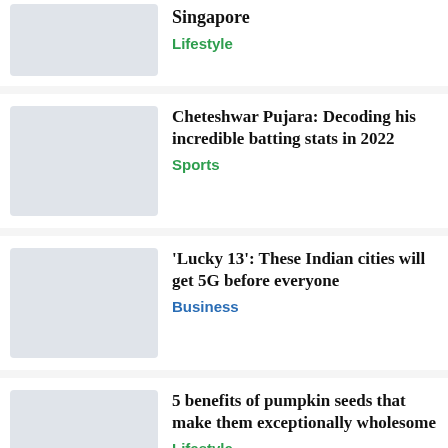Singapore
Cheteshwar Pujara: Decoding his incredible batting stats in 2022
'Lucky 13': These Indian cities will get 5G before everyone
5 benefits of pumpkin seeds that make them exceptionally wholesome
Newcastle United set to sign Alexander Isak: Decoding his stats